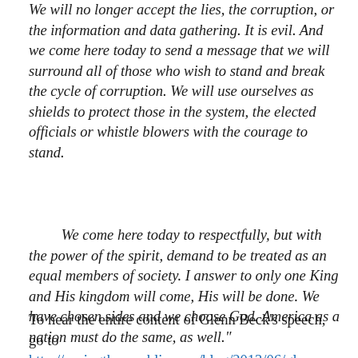We will no longer accept the lies, the corruption, or the information and data gathering. It is evil. And we come here today to send a message that we will surround all of those who wish to stand and break the cycle of corruption. We will use ourselves as shields to protect those in the system, the elected officials or whistle blowers with the courage to stand.
We come here today to respectfully, but with the power of the spirit, demand to be treated as an equal members of society. I answer to only one King and His kingdom will come, His will be done. We have chosen sides and we choose God. America as a nation must do the same, as well."
To hear the entire content of Glenn Beck's speech, go to http://savingtherepublic.com/blog/2013/06/glenn-beck-